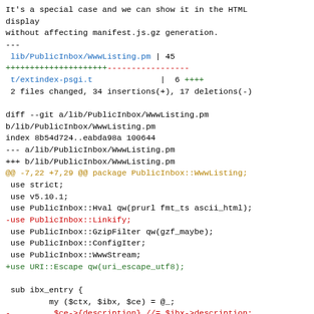It's a special case and we can show it in the HTML display
without affecting manifest.js.gz generation.
---
 lib/PublicInbox/WwwListing.pm | 45
+++++++++++++++++++++-----------------
 t/extindex-psgi.t              |  6 ++++
 2 files changed, 34 insertions(+), 17 deletions(-)
diff --git a/lib/PublicInbox/WwwListing.pm b/lib/PublicInbox/WwwListing.pm
index 8b54d724..eabda98a 100644
--- a/lib/PublicInbox/WwwListing.pm
+++ b/lib/PublicInbox/WwwListing.pm
@@ -7,22 +7,29 @@ package PublicInbox::WwwListing;
 use strict;
 use v5.10.1;
 use PublicInbox::Hval qw(prurl fmt_ts ascii_html);
-use PublicInbox::Linkify;
 use PublicInbox::GzipFilter qw(gzf_maybe);
 use PublicInbox::ConfigIter;
 use PublicInbox::WwwStream;
+use URI::Escape qw(uri_escape_utf8);

 sub ibx_entry {
         my ($ctx, $ibx, $ce) = @_;
-         $ce->{description} //= $ibx->description;
+         my $desc = ascii_html($ce->{description} //=
 $ibx->description);
         my $ts = fmt_ts($ce->{-modified} //= $ibx-